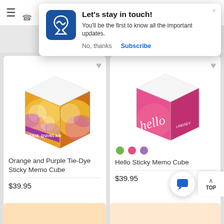≡  ☎  ch
[Figure (screenshot): Browser push notification popup: logo with stylized S on blue background, title 'Let's stay in touch!', body text 'You'll be the first to know all the important updates.', buttons 'No, thanks' and 'Subscribe']
[Figure (photo): Orange and Purple Tie-Dye Sticky Memo Cube with name JESSIE QUINLAN on a label]
Orange and Purple Tie-Dye Sticky Memo Cube
$39.95
[Figure (photo): Pink Hello Sticky Memo Cube with script 'hello LINDSEY' text on front]
Hello Sticky Memo Cube
$39.95